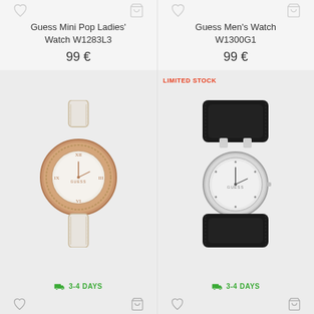Guess Mini Pop Ladies' Watch W1283L3
99 €
[Figure (photo): Guess Mini Pop Ladies Watch with rose gold case and white leather strap]
3-4 DAYS
Guess Men's Watch W1300G1
99 €
[Figure (photo): Guess Men's Watch with silver case and wide black leather wrap strap, LIMITED STOCK badge]
3-4 DAYS